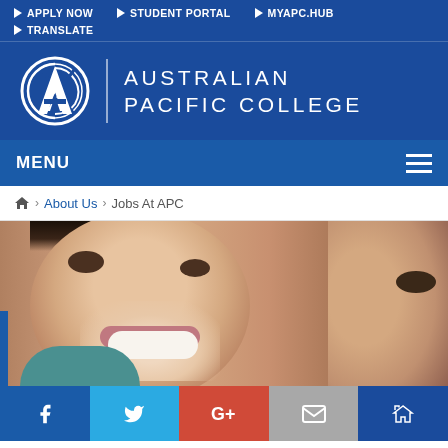APPLY NOW | STUDENT PORTAL | MYAPC.HUB | TRANSLATE
[Figure (logo): Australian Pacific College logo — circular APC emblem with text AUSTRALIAN PACIFIC COLLEGE]
MENU
Home > About Us > Jobs At APC
[Figure (photo): Close-up photo of two smiling women, one in foreground with brown eyes and teal clothing, one partially visible on right side]
Facebook | Twitter | Google+ | Email | Crown (social icons bar)